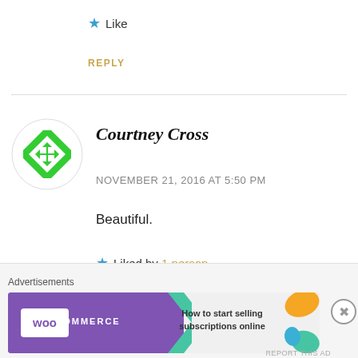★ Like
REPLY
[Figure (illustration): Green geometric avatar icon for user Courtney Cross]
Courtney Cross
NOVEMBER 21, 2016 AT 5:50 PM
Beautiful.
★ Liked by 1 person
REPLY
Advertisements
[Figure (illustration): WooCommerce advertisement banner: How to start selling subscriptions online]